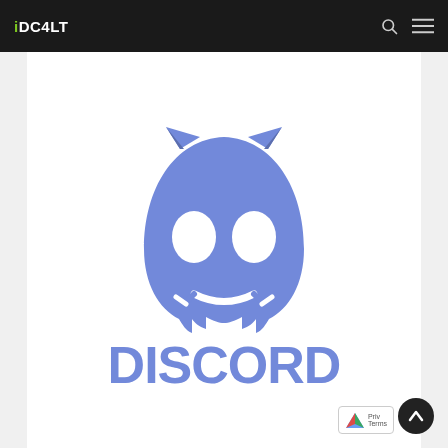iDC4LT
[Figure (logo): Discord logo: blue-purple stylized robot/controller face with two oval eyes, horns/notches at top, smile at bottom, above the word DISCORD in bold blue-purple letters]
Privacy Terms